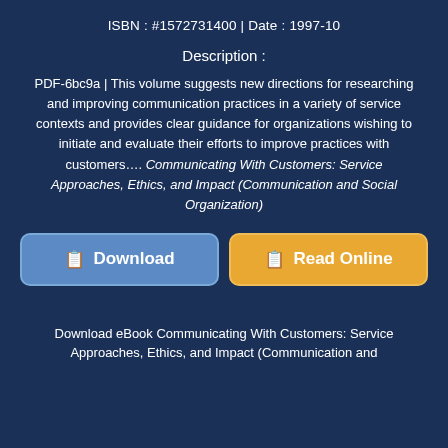ISBN : #1572731400 | Date : 1997-10
Description :
PDF-6bc9a | This volume suggests new directions for researching and improving communication practices in a variety of service contexts and provides clear guidance for organizations wishing to initiate and evaluate their efforts to improve practices with customers…. Communicating With Customers: Service Approaches, Ethics, and Impact (Communication and Social Organization)
[Figure (other): Two buttons: Download (blue) and Read Online (orange)]
Download eBook Communicating With Customers: Service Approaches, Ethics, and Impact (Communication and